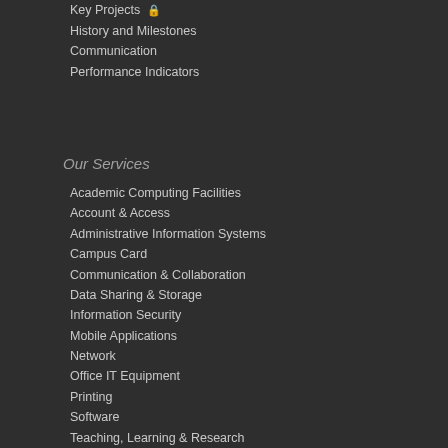Key Projects 🔒
History and Milestones
Communication
Performance Indicators
Our Services
Academic Computing Facilities
Account & Access
Administrative Information Systems
Campus Card
Communication & Collaboration
Data Sharing & Storage
Information Security
Mobile Applications
Network
Office IT Equipment
Printing
Software
Teaching, Learning & Research
Training
Web Hosting